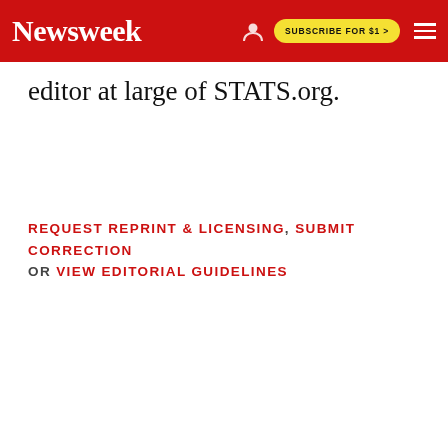Newsweek | SUBSCRIBE FOR $1 >
editor at large of STATS.org.
REQUEST REPRINT & LICENSING, SUBMIT CORRECTION OR VIEW EDITORIAL GUIDELINES